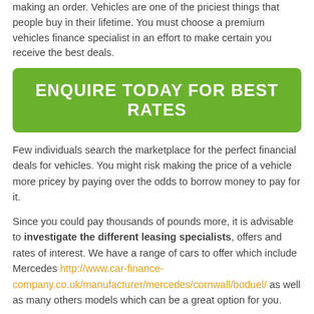making an order. Vehicles are one of the priciest things that people buy in their lifetime. You must choose a premium vehicles finance specialist in an effort to make certain you receive the best deals.
[Figure (other): Green call-to-action button with white bold text reading 'ENQUIRE TODAY FOR BEST RATES']
Few individuals search the marketplace for the perfect financial deals for vehicles. You might risk making the price of a vehicle more pricey by paying over the odds to borrow money to pay for it.
Since you could pay thousands of pounds more, it is advisable to investigate the different leasing specialists, offers and rates of interest. We have a range of cars to offer which include Mercedes http://www.car-finance-company.co.uk/manufacturer/mercedes/cornwall/boduel/ as well as many others models which can be a great option for you.
Individual Vehicle Support
Hire Purchase also abbreviated to HP way of buying a car on finance from a premium company and is paid in instalments where